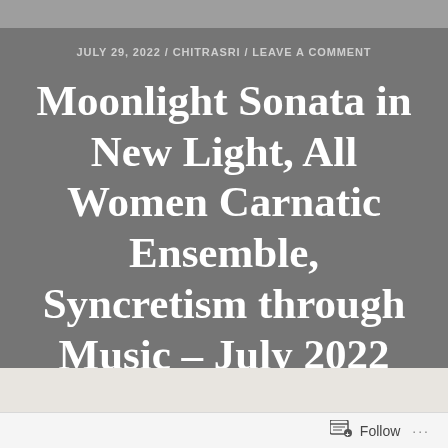JULY 29, 2022 / CHITRASRI / LEAVE A COMMENT
Moonlight Sonata in New Light, All Women Carnatic Ensemble, Syncretism through Music – July 2022